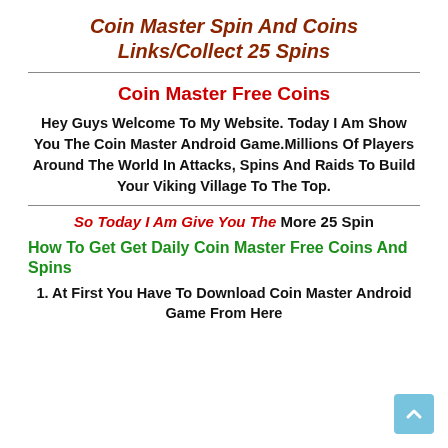Coin Master Spin And Coins Links/Collect 25 Spins
Coin Master Free Coins
Hey Guys Welcome To My Website. Today I Am Show You The Coin Master Android Game.Millions Of Players Around The World In Attacks, Spins And Raids To Build Your Viking Village To The Top.
So Today I Am Give You The More 25 Spin
How To Get Get Daily Coin Master Free Coins And Spins
1. At First You Have To Download Coin Master Android Game From Here